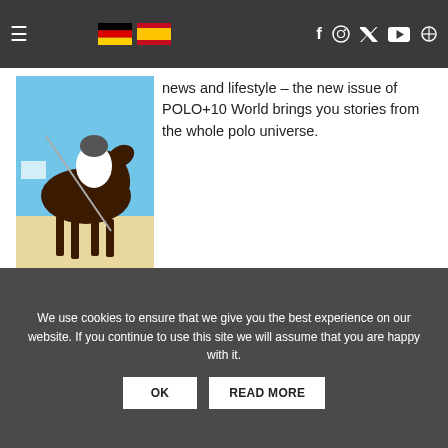Navigation bar with hamburger menu, German and Spanish flags, Facebook, Instagram, Twitter, YouTube, and Search icons
[Figure (photo): Magazine cover showing a polo player on horseback in action, with blue sky background]
news and lifestyle – the new issue of POLO+10 World brings you stories from the whole polo universe.
SUBSCRIPTION
MEDIA KIT
DOWNLOAD
[Figure (logo): POLO+10 advertisement banner with polo player illustration in blue and POLO+10 logo in red with tagline MUCH MORE THAN A POLO MAGAZINE]
We use cookies to ensure that we give you the best experience on our website. If you continue to use this site we will assume that you are happy with it.